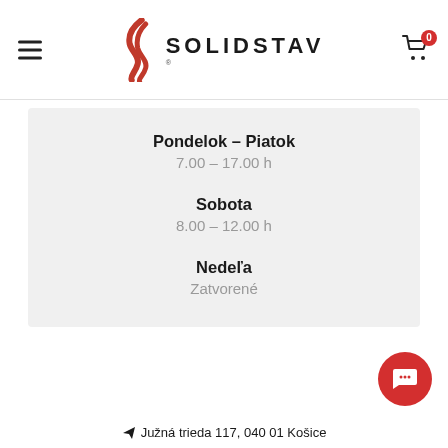SOLIDSTAV
Pondelok – Piatok
7.00 – 17.00 h
Sobota
8.00 – 12.00 h
Nedeľa
Zatvorené
Južná trieda 117, 040 01 Košice